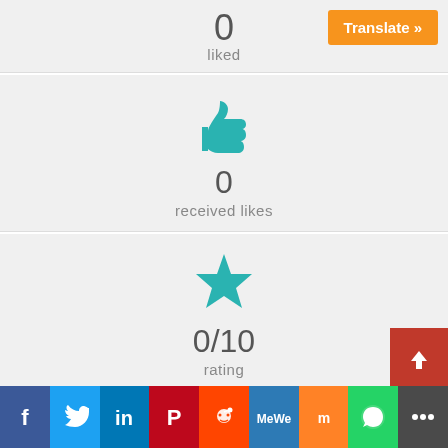0 liked
[Figure (illustration): Teal thumbs up icon]
0 received likes
[Figure (illustration): Teal star icon]
0/10 rating
[Figure (illustration): Teal pencil/edit icon on rounded square]
0
[Figure (illustration): Social sharing bar with Facebook, Twitter, LinkedIn, Pinterest, Reddit, MeWe, Mix, WhatsApp, More icons]